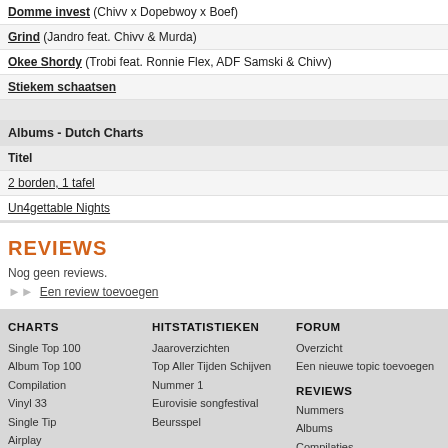| Domme invest (Chivv x Dopebwoy x Boef) |
| Grind (Jandro feat. Chivv & Murda) |
| Okee Shordy (Trobi feat. Ronnie Flex, ADF Samski & Chivv) |
| Stiekem schaatsen |
| Albums - Dutch Charts |
| Titel |
| 2 borden, 1 tafel |
| Un4gettable Nights |
REVIEWS
Nog geen reviews.
Een review toevoegen
CHARTS | HITSTATISTIEKEN | FORUM | Single Top 100 | Album Top 100 | Compilation | Vinyl 33 | Single Tip | Airplay | RadioNL Top 30 | Oude lijsten | Formatteringsregels | Jaaroverzichten | Top Aller Tijden Schijven | Nummer 1 | Eurovisie songfestival | Beursspel | Overzicht | Een nieuwe topic toevoegen | REVIEWS | Nummers | Albums | Compilaties | Leden | Nederlande leden